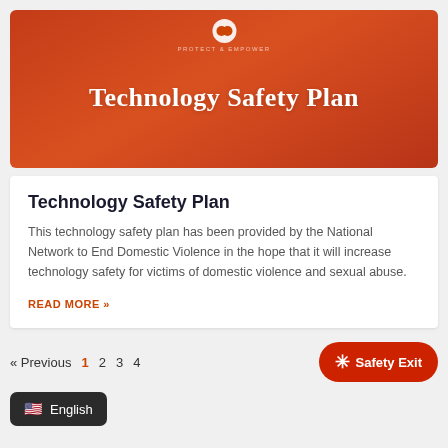[Figure (illustration): Orange-red gradient banner image with 'Technology Safety Plan' title text in white, and a small logo at the top center]
Technology Safety Plan
This technology safety plan has been provided by the National Network to End Domestic Violence in the hope that it will increase technology safety for victims of domestic violence and sexual abuse.
READ MORE »
« Previous  1  2  3  4    Safety Exit    English